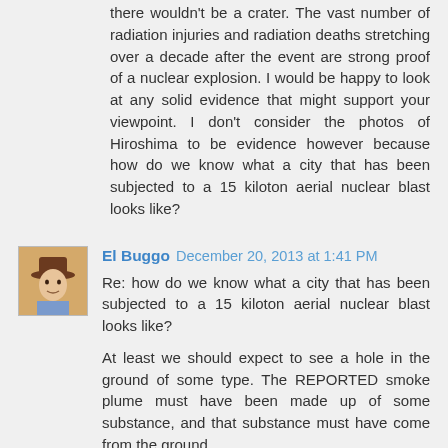there wouldn't be a crater. The vast number of radiation injuries and radiation deaths stretching over a decade after the event are strong proof of a nuclear explosion. I would be happy to look at any solid evidence that might support your viewpoint. I don't consider the photos of Hiroshima to be evidence however because how do we know what a city that has been subjected to a 15 kiloton aerial nuclear blast looks like?
[Figure (photo): Avatar image of user El Buggo - cartoon/illustration of a man wearing a cowboy hat]
El Buggo December 20, 2013 at 1:41 PM
Re: how do we know what a city that has been subjected to a 15 kiloton aerial nuclear blast looks like?

At least we should expect to see a hole in the ground of some type. The REPORTED smoke plume must have been made up of some substance, and that substance must have come from the ground.